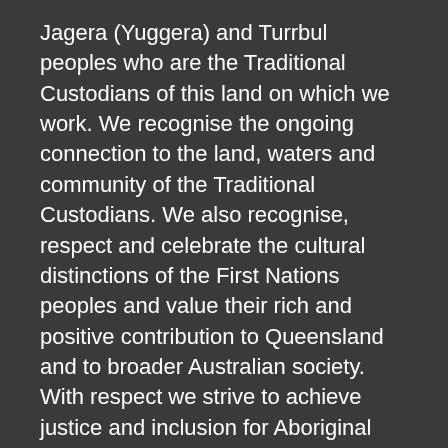Jagera (Yuggera) and Turrbul peoples who are the Traditional Custodians of this land on which we work. We recognise the ongoing connection to the land, waters and community of the Traditional Custodians. We also recognise, respect and celebrate the cultural distinctions of the First Nations peoples and value their rich and positive contribution to Queensland and to broader Australian society. With respect we strive to achieve justice and inclusion for Aboriginal and Torres Strait Islander peoples.
DISCLAIMER AND COPYRIGHT
The Queensland Law Handbook is produced by Caxton Legal Centre Inc (ABN 57 035 448 677) with the assistance of volunteers with legal experience in Queensland.